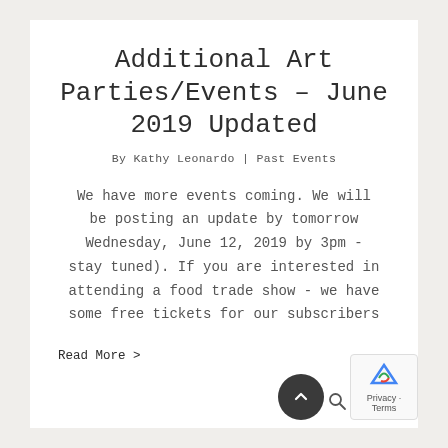Additional Art Parties/Events – June 2019 Updated
By Kathy Leonardo | Past Events
We have more events coming. We will be posting an update by tomorrow Wednesday, June 12, 2019 by 3pm - stay tuned). If you are interested in attending a food trade show - we have some free tickets for our subscribers
Read More >